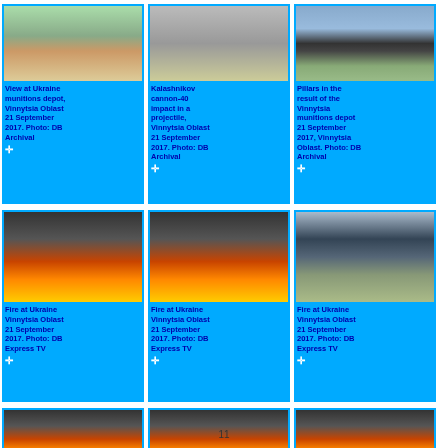[Figure (photo): Grid of 9 thumbnail photos showing Ukrainian ammunition depot explosions, September 2017, with blue caption panels below each image]
View at Ukraine munitions depot, Vinnytsia Oblast 21 September 2017. Photo: DB Archival
Kalashnikov cannon-40 impact in a projectile, Vinnytsia Oblast 21 September 2017. Photo: DB Archival
Pillars in the result of the Vinnytsia munitions depot 21 September 2017, Vinnytsia Oblast. Photo: DB Archival
Fire at Ukraine Vinnytsia Oblast 21 September 2017. Photo: DB Express TV
Fire at Ukraine Vinnytsia Oblast 21 September 2017. Photo: DB Express TV
Fire at Ukraine Vinnytsia Oblast 21 September 2017. Photo: DB Express TV
11